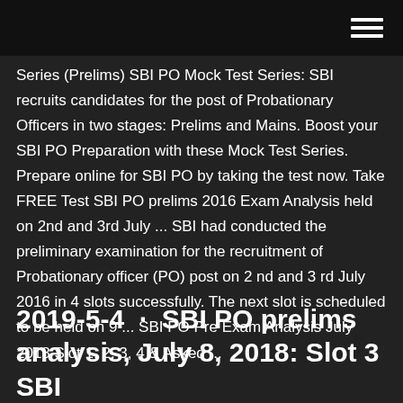Series (Prelims) SBI PO Mock Test Series: SBI recruits candidates for the post of Probationary Officers in two stages: Prelims and Mains. Boost your SBI PO Preparation with these Mock Test Series. Prepare online for SBI PO by taking the test now. Take FREE Test SBI PO prelims 2016 Exam Analysis held on 2nd and 3rd July ... SBI had conducted the preliminary examination for the recruitment of Probationary officer (PO) post on 2 nd and 3 rd July 2016 in 4 slots successfully. The next slot is scheduled to be held on 9 ... SBI PO Pre Exam Analysis July 2018 Slot 1, 2, 3, 4 & Asked ...
2019-5-4 · SBI PO prelims analysis, July 8, 2018: Slot 3 SBI